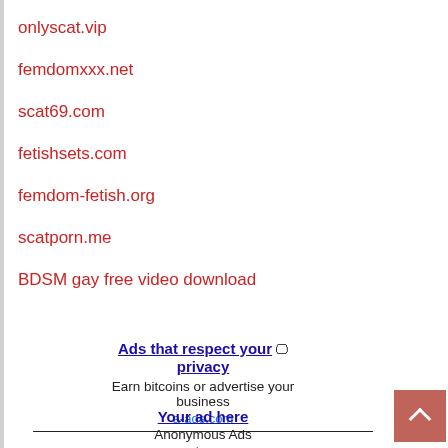onlyscat.vip
femdomxxx.net
scat69.com
fetishsets.com
femdom-fetish.org
scatporn.me
BDSM gay free video download
[Figure (other): Advertisement block: 'Ads that respect your privacy' with icon, text 'Earn bitcoins or advertise your business', link 'a-ads.com']
[Figure (other): Advertisement block: 'Your ad here', text 'Anonymous Ads', link 'a-ads.com']